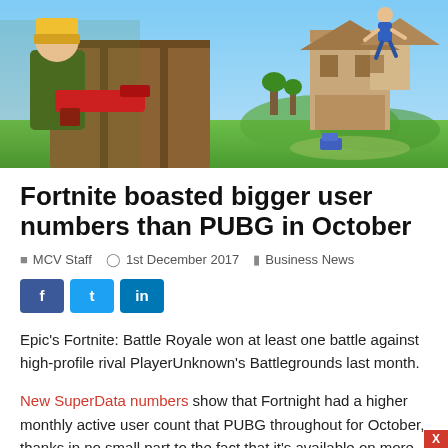[Figure (photo): Hero banner image from Fortnite Battle Royale game showing a character holding a red weapon on the left, with buildings and another character in the background on a colorful game landscape.]
Fortnite boasted bigger user numbers than PUBG in October
MCV Staff   1st December 2017   Business News
f  t  in
Epic's Fortnite: Battle Royale won at least one battle against high-profile rival PlayerUnknown's Battlegrounds last month.
New SuperData numbers show that Fortnight had a higher monthly active user count that PUBG throughout for October, thanks in no small part to the fact that it's available on more platforms and is also